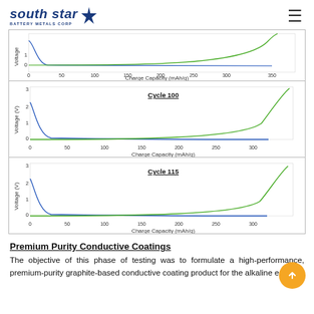[Figure (logo): South Star Battery Metals Corp logo with star graphic]
[Figure (continuous-plot): Voltage vs Charge Capacity plot (partial, top of page), showing charge/discharge curves]
[Figure (continuous-plot): Cycle 100: Voltage (V) vs Charge Capacity (mAh/g), blue discharge and green charge curves]
[Figure (continuous-plot): Cycle 115: Voltage (V) vs Charge Capacity (mAh/g), blue discharge and green charge curves]
Premium Purity Conductive Coatings
The objective of this phase of testing was to formulate a high-performance, premium-purity graphite-based conductive coating product for the alkaline energy